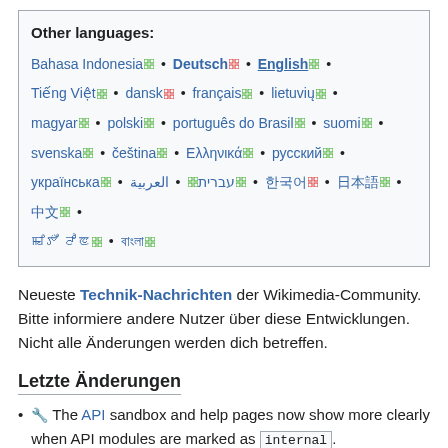Other languages: Bahasa Indonesia • Deutsch • English • Tiếng Việt • dansk • français • lietuvių • magyar • polski • português do Brasil • suomi • svenska • čeština • Ελληνικά • русский • українська • עברית • العربية • 한국어 • 日本語 • 中文 • ꯃꯤꯇꯩ ꯂꯣꯟ • বাংলা
Neueste Technik-Nachrichten der Wikimedia-Community. Bitte informiere andere Nutzer über diese Entwicklungen. Nicht alle Änderungen werden dich betreffen.
Letzte Änderungen
🔧 The API sandbox and help pages now show more clearly when API modules are marked as internal.